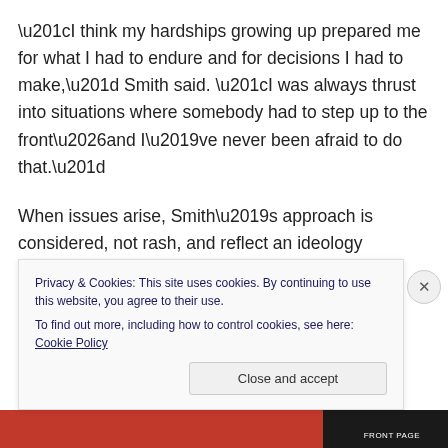“I think my hardships growing up prepared me for what I had to endure and for decisions I had to make,” Smith said. “I was always thrust into situations where somebody had to step up to the front…and I’ve never been afraid to do that.”
When issues arise, Smith’s approach is considered, not rash, and reflect an ideology influenced by the passive resistance philosophies and strategies of such diverse figures…
Privacy & Cookies: This site uses cookies. By continuing to use this website, you agree to their use.
To find out more, including how to control cookies, see here: Cookie Policy